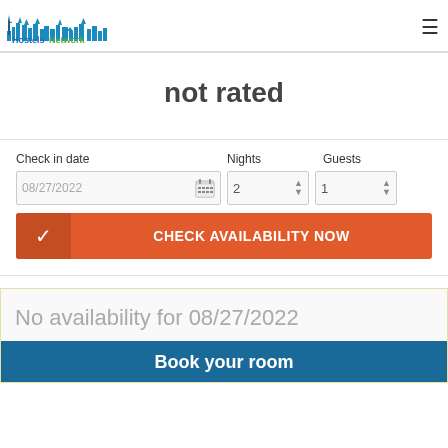Hostels Network
not rated
Check in date: 08/27/2022, Nights: 2, Guests: 1
CHECK AVAILABILITY NOW
No availability for 08/27/2022
Book your room